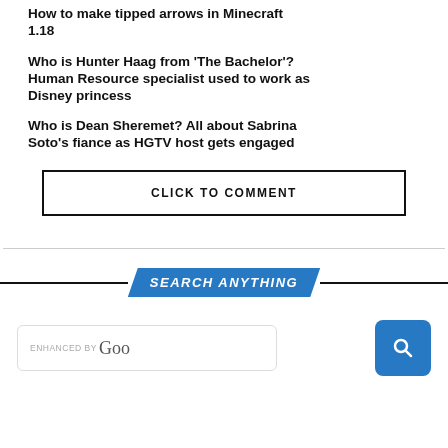How to make tipped arrows in Minecraft 1.18
Who is Hunter Haag from 'The Bachelor'? Human Resource specialist used to work as Disney princess
Who is Dean Sheremet? All about Sabrina Soto's fiance as HGTV host gets engaged
CLICK TO COMMENT
SEARCH ANYTHING
[Figure (screenshot): Google search input field with 'enhanced by Goo' placeholder text and a blue search button with magnifying glass icon]